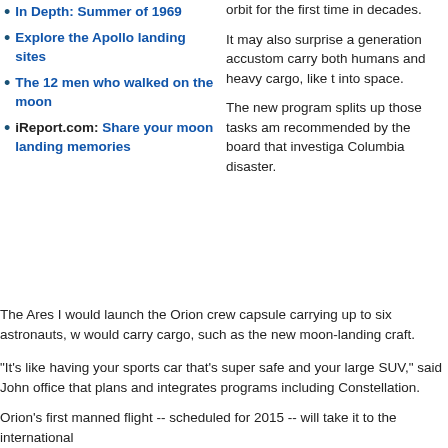In Depth: Summer of 1969
Explore the Apollo landing sites
The 12 men who walked on the moon
iReport.com: Share your moon landing memories
orbit for the first time in decades.
It may also surprise a generation accustomed to carry both humans and heavy cargo, like the shuttle, into space.
The new program splits up those tasks among recommended by the board that investigated the Columbia disaster.
The Ares I would launch the Orion crew capsule carrying up to six astronauts, w would carry cargo, such as the new moon-landing craft.
"It's like having your sports car that's super safe and your large SUV," said John office that plans and integrates programs including Constellation.
Orion's first manned flight -- scheduled for 2015 -- will take it to the international Watch how Constellation is designed to work
For a future trip to the moon, Orion's crew would dock with the Altair lunar modu escape the planet's gravity by firing the powerful engine of an Earth departure s
Arriving at their destination, the astronauts could land anywhere on the moon, in poles -- a big improvement over Apollo, which limited landing sites mostly to the the moon.
The search for prime real estate has already begun. Last month, NASA launche Orbiter, an unmanned spacecraft tasked with finding landing sites and resource favoring the heavily cratered south pole because of its scientific interest and the ice, Olson said. NASA.gov: Watch what it might look like to land on the luna
The lunar water could be used for drinking, or as a source of oxygen and hydro